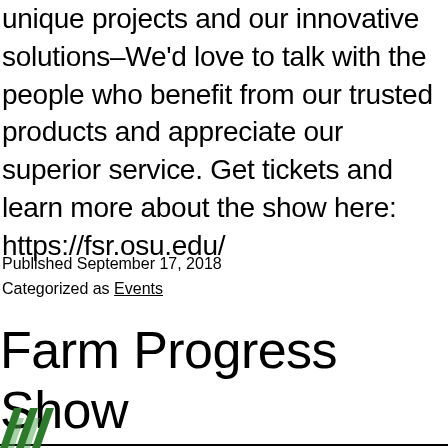unique projects and our innovative solutions–We'd love to talk with the people who benefit from our trusted products and appreciate our superior service. Get tickets and learn more about the show here: https://fsr.osu.edu/
Published September 17, 2018
Categorized as Events
Farm Progress Show
[Figure (logo): Partial logo visible at bottom of page with green diagonal stripes]